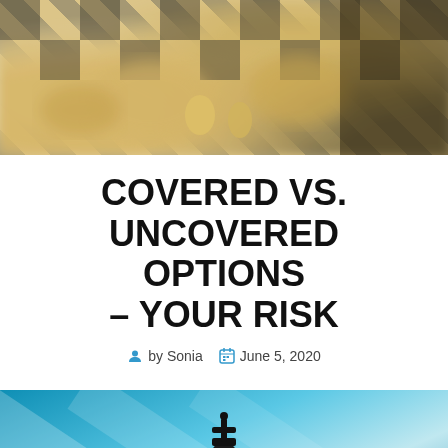[Figure (photo): Blurred close-up photo of chess pieces on a chessboard with black and gold/tan tones]
COVERED VS. UNCOVERED OPTIONS – YOUR RISK
by Sonia   June 5, 2020
[Figure (photo): A black chess king piece standing upright on a teal/blue background with white chess pieces fallen around it]